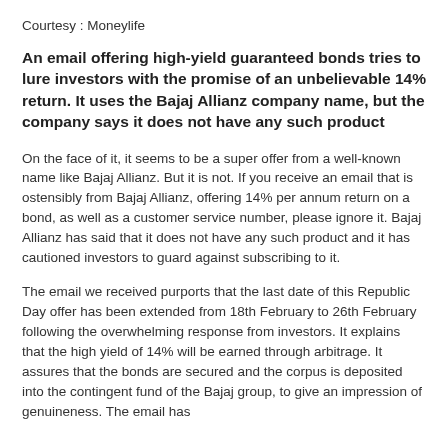Courtesy :  Moneylife
An email offering high-yield guaranteed bonds tries to lure investors with the promise of an unbelievable 14% return. It uses the Bajaj Allianz company name, but the company says it does not have any such product
On the face of it, it seems to be a super offer from a well-known name like Bajaj Allianz. But it is not. If you receive an email that is ostensibly from Bajaj Allianz, offering 14% per annum return on a bond, as well as a customer service number, please ignore it. Bajaj Allianz has said that it does not have any such product and it has cautioned investors to guard against subscribing to it.
The email we received purports that the last date of this Republic Day offer has been extended from 18th February to 26th February following the overwhelming response from investors. It explains that the high yield of 14% will be earned through arbitrage. It assures that the bonds are secured and the corpus is deposited into the contingent fund of the Bajaj group, to give an impression of genuineness. The email has